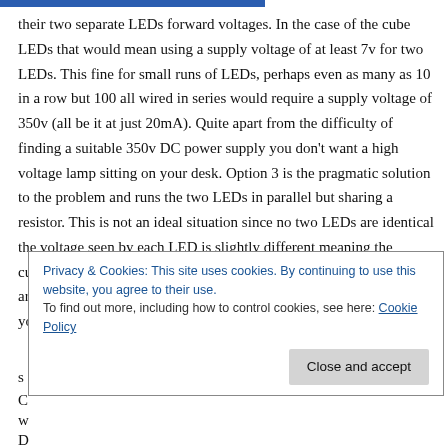their two separate LEDs forward voltages. In the case of the cube LEDs that would mean using a supply voltage of at least 7v for two LEDs. This fine for small runs of LEDs, perhaps even as many as 10 in a row but 100 all wired in series would require a supply voltage of 350v (all be it at just 20mA). Quite apart from the difficulty of finding a suitable 350v DC power supply you don't want a high voltage lamp sitting on your desk. Option 3 is the pragmatic solution to the problem and runs the two LEDs in parallel but sharing a resistor. This is not an ideal situation since no two LEDs are identical the voltage seen by each LED is slightly different meaning the current drawn by each one can vary greatly. In reality, as long as you are using the same LED everywhere and you aren't driving them hard you
s
C
w
D
Privacy & Cookies: This site uses cookies. By continuing to use this website, you agree to their use. To find out more, including how to control cookies, see here: Cookie Policy